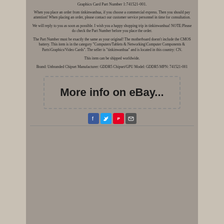Graphics Card Part Number 1:741521-001.
When you place an order from tinkinwanhua, if you choose a commercial express. Then you should pay attention! When placing an order, please contact our customer service personnel in time for consultation.
We will reply to you as soon as possible. I wish you a happy shopping trip in tinkinwanhua! NOTE:Please do check the Part Number before you place the order.
The Part Number must be exactly the same as your original! The motherboard doesn't include the CMOS battery. This item is in the category "Computers/Tablets & Networking\Computer Components & Parts\Graphics/Video Cards". The seller is "tinkinwanhua" and is located in this country: CN.
This item can be shipped worldwide.
Brand: Unbranded Chipset Manufacturer: GDDR5 Chipset/GPU Model: GDDR5 MPN: 741521-001
[Figure (other): Button with dashed border and handwritten text 'More info on eBay...']
[Figure (other): Social media share icons: Facebook, Twitter, Pinterest, Email]